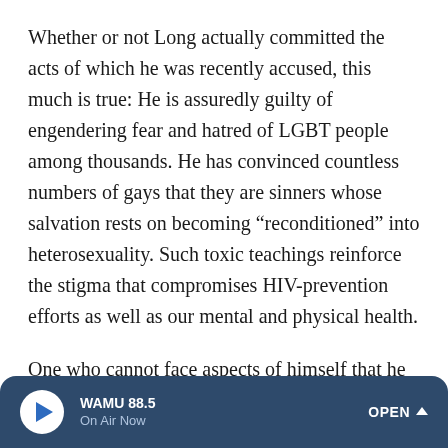Whether or not Long actually committed the acts of which he was recently accused, this much is true: He is assuredly guilty of engendering fear and hatred of LGBT people among thousands. He has convinced countless numbers of gays that they are sinners whose salvation rests on becoming "reconditioned" into heterosexuality. Such toxic teachings reinforce the stigma that compromises HIV-prevention efforts as well as our mental and physical health.
One who cannot face aspects of himself that he despises will train that animus on another whom he regards as his opposite. Did he sell out countless individuals in order to throw congregants off the scent of his own hunt, the exploitation of young men? Was there a point when, at first,
WAMU 88.5 On Air Now OPEN